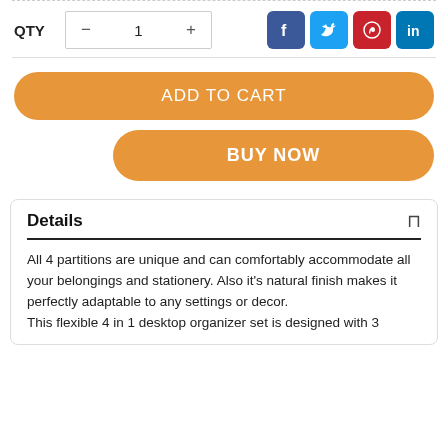QTY  -  1  +
[Figure (infographic): Social media share icons: Facebook (blue), Twitter (light blue), Pinterest (red), LinkedIn (teal/blue)]
ADD TO CART
BUY NOW
Details
All 4 partitions are unique and can comfortably accommodate all your belongings and stationery. Also it's natural finish makes it perfectly adaptable to any settings or decor.
This flexible 4 in 1 desktop organizer set is designed with 3